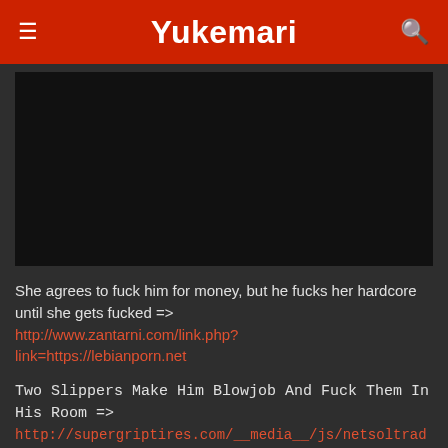Yukemari
[Figure (other): Black video player area]
She agrees to fuck him for money, but he fucks her hardcore until she gets fucked => http://www.zantarni.com/link.php?link=https://lebianporn.net
Two Slippers Make Him Blowjob And Fuck Them In His Room => http://supergriptires.com/__media__/js/netsoltrademark.php?d=lebianporn.net/video/all-in-the-family-sex-between-father-daughter-mother-cousin-and-